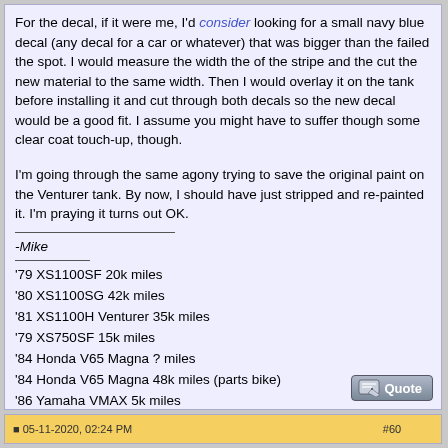For the decal, if it were me, I'd consider looking for a small navy blue decal (any decal for a car or whatever) that was bigger than the failed the spot. I would measure the width the of the stripe and the cut the new material to the same width. Then I would overlay it on the tank before installing it and cut through both decals so the new decal would be a good fit. I assume you might have to suffer though some clear coat touch-up, though.

I'm going through the same agony trying to save the original paint on the Venturer tank. By now, I should have just stripped and re-painted it. I'm praying it turns out OK.
-Mike
'79 XS1100SF 20k miles
'80 XS1100SG 42k miles
'81 XS1100H Venturer 35k miles
'79 XS750SF 15k miles
'84 Honda V65 Magna ? miles
'84 Honda V65 Magna 48k miles (parts bike)
'86 Yamaha VMAX 5k miles
Previous
'68 Motoguzzi 600cc
'79 XS750SF 22k miles
05-11-2020, 02:24 PM   #60